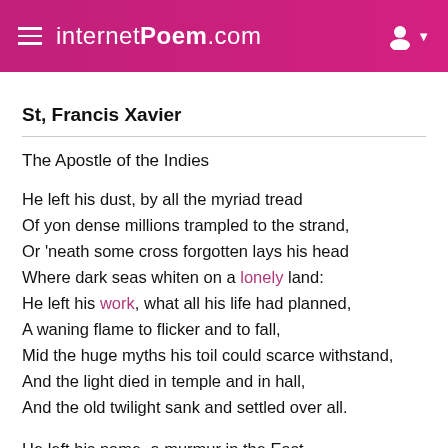internetPoem.com
St, Francis Xavier
The Apostle of the Indies
He left his dust, by all the myriad tread
Of yon dense millions trampled to the strand,
Or 'neath some cross forgotten lays his head
Where dark seas whiten on a lonely land:
He left his work, what all his life had planned,
A waning flame to flicker and to fall,
Mid the huge myths his toil could scarce withstand,
And the light died in temple and in hall,
And the old twilight sank and settled over all.
He left his name, a murmur in the East,